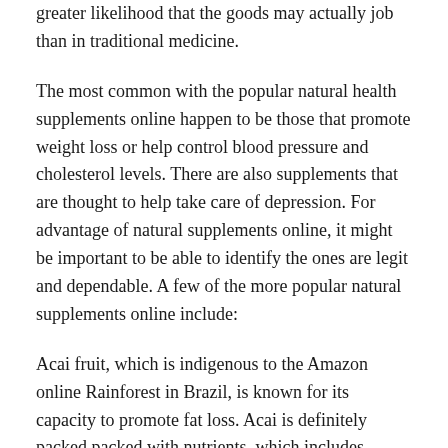greater likelihood that the goods may actually job than in traditional medicine.
The most common with the popular natural health supplements online happen to be those that promote weight loss or help control blood pressure and cholesterol levels. There are also supplements that are thought to help take care of depression. For advantage of natural supplements online, it might be important to be able to identify the ones are legit and dependable. A few of the more popular natural supplements online include:
Acai fruit, which is indigenous to the Amazon online Rainforest in Brazil, is known for its capacity to promote fat loss. Acai is definitely packed packed with nutrients, which includes antioxidants and vitamins, which help in preventing obesity and improving general body function. Acai also contains big levels of mono-unsaturated fats, which are good for lowering cholesterol and